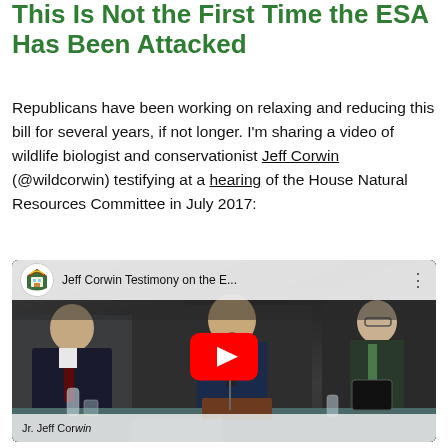This Is Not the First Time the ESA Has Been Attacked
Republicans have been working on relaxing and reducing this bill for several years, if not longer. I'm sharing a video of wildlife biologist and conservationist Jeff Corwin (@wildcorwin) testifying at a hearing of the House Natural Resources Committee in July 2017:
[Figure (screenshot): Embedded YouTube video thumbnail showing Jeff Corwin Testimony on the E... with a YouTube play button overlay. Shows men in suits seated at a committee hearing table. Top bar shows YouTube channel logo and video title. Bottom shows name placard partially visible reading 'Jr. Jeff Cor...'.]